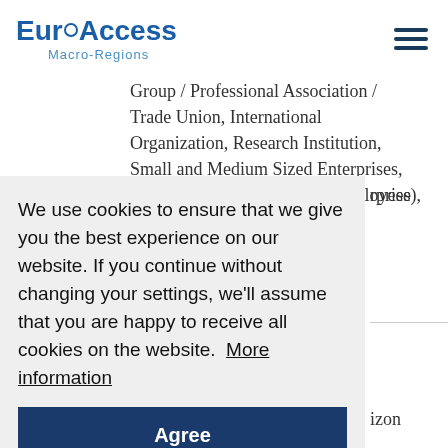EuroAccess Macro-Regions
Group / Professional Association / Trade Union, International Organization, Research Institution, Small and Medium Sized Enterprises, SMEs (between 10 and 249 employees), Microenterprises (fewer than 10 ...rprise
We use cookies to ensure that we give you the best experience on our website. If you continue without changing your settings, we'll assume that you are happy to receive all cookies on the website.  More information
Agree
...izon
...on of ...e are
no countries associated to